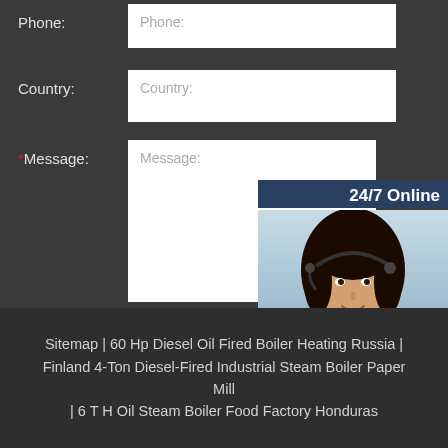Phone:
Phone:
Country:
Country:
*Message:
Message:
24/7 Online
[Figure (photo): Customer service representative woman with headset smiling]
Click here for free chat !
QUOTATION
Submit Now
Sitemap | 60 Hp Diesel Oil Fired Boiler Heating Russia | Finland 4-Ton Diesel-Fired Industrial Steam Boiler Paper Mill | 6 T H Oil Steam Boiler Food Factory Honduras